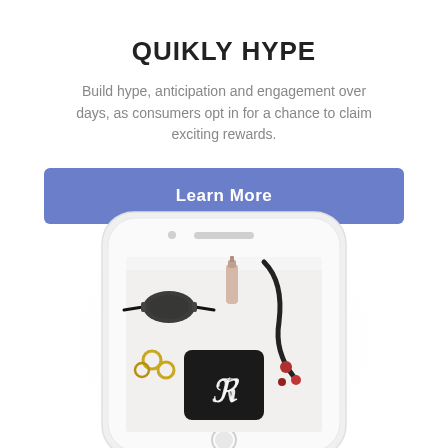QUIKLY HYPE
Build hype, anticipation and engagement over days, as consumers opt in for a chance to claim exciting rewards.
[Figure (other): Blue button labeled 'Learn More']
[Figure (photo): Illustration of a white smartphone showing a fashion/accessories flatlay photo with sunglasses, rings, nail polish, and a black card with a cursive R logo. The phone is shown against a soft purple-white radial gradient background.]